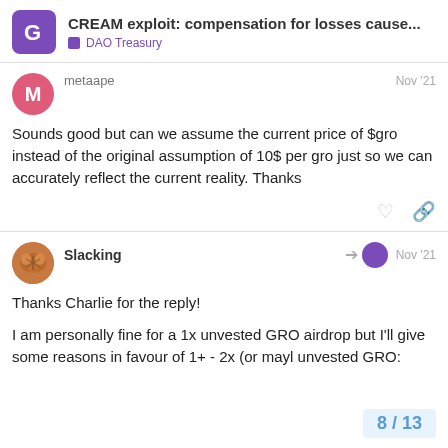CREAM exploit: compensation for losses cause... | DAO Treasury
metaape
Nov '21
Sounds good but can we assume the current price of $gro instead of the original assumption of 10$ per gro just so we can accurately reflect the current reality. Thanks
Slacking
Nov '21
Thanks Charlie for the reply!

I am personally fine for a 1x unvested GRO airdrop but I'll give some reasons in favour of 1+ - 2x (or maybe 1.5x) unvested GRO:
8 / 13